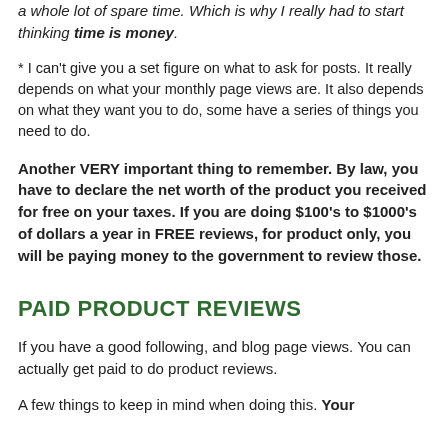a whole lot of spare time.  Which is why I really had to start thinking time is money.
* I can't give you a set figure on what to ask for posts.  It really depends on what your monthly page views are.  It also depends on what they want you to do, some have a series of things you need to do.
Another VERY important thing to remember.  By law, you have to declare the net worth of the product you received for free on your taxes.  If you are doing $100's to $1000's of dollars a year in FREE reviews, for product only, you will be paying money to the government to review those.
PAID PRODUCT REVIEWS
If you have a good following, and blog page views.  You can actually get paid to do product reviews.
A few things to keep in mind when doing this.  Your